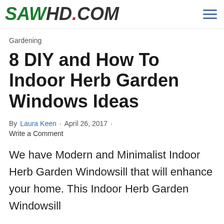SAWHD.COM
Gardening
8 DIY and How To Indoor Herb Garden Windows Ideas
By Laura Keen · April 26, 2017 ·
Write a Comment
We have Modern and Minimalist Indoor Herb Garden Windowsill that will enhance your home. This Indoor Herb Garden Windowsill